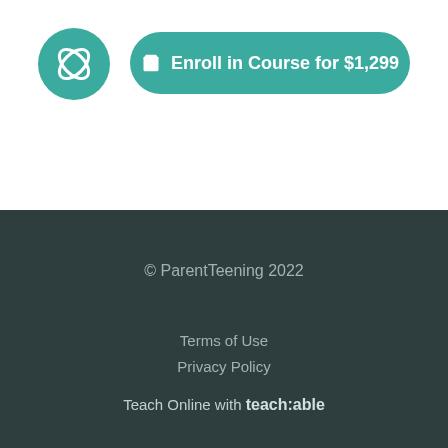[Figure (logo): Circular teal logo with a white leaf/wave symbol]
Enroll in Course for $1,299
© ParentTeening 2022
Terms of Use
Privacy Policy
Teach Online with teach:able